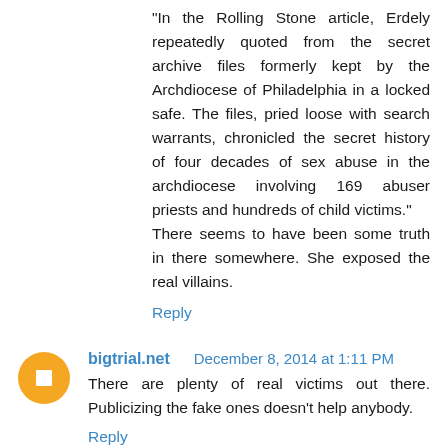"In the Rolling Stone article, Erdely repeatedly quoted from the secret archive files formerly kept by the Archdiocese of Philadelphia in a locked safe. The files, pried loose with search warrants, chronicled the secret history of four decades of sex abuse in the archdiocese involving 169 abuser priests and hundreds of child victims." There seems to have been some truth in there somewhere. She exposed the real villains.
Reply
bigtrial.net   December 8, 2014 at 1:11 PM
There are plenty of real victims out there. Publicizing the fake ones doesn't help anybody.
Reply
▾ Replies
St. Seraphim   December 8, 2014 at 5:27